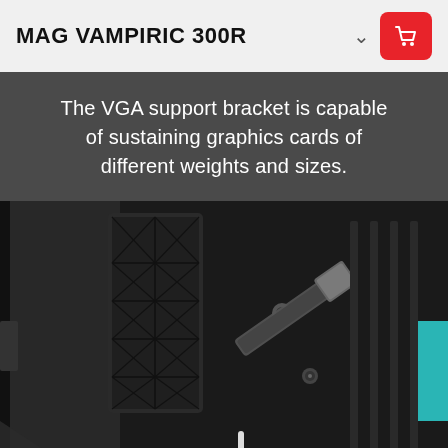MAG VAMPIRIC 300R
The VGA support bracket is capable of sustaining graphics cards of different weights and sizes.
[Figure (photo): Close-up photograph of the interior of the MAG VAMPIRIC 300R PC case showing a VGA support bracket mechanism — a hinged metallic arm with a foam pad attached to the case interior, adjacent to a rubber-padded vertical bracket panel with cross-cut pattern.]